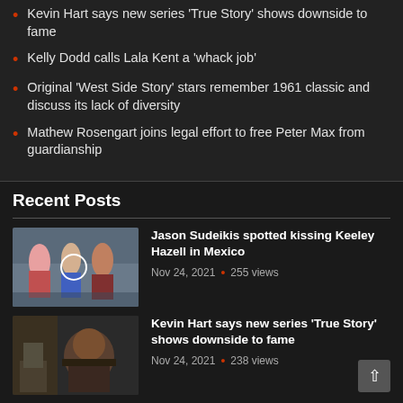Kevin Hart says new series 'True Story' shows downside to fame
Kelly Dodd calls Lala Kent a 'whack job'
Original 'West Side Story' stars remember 1961 classic and discuss its lack of diversity
Mathew Rosengart joins legal effort to free Peter Max from guardianship
Recent Posts
[Figure (photo): People on a beach, Jason Sudeikis and Keeley Hazell]
Jason Sudeikis spotted kissing Keeley Hazell in Mexico
Nov 24, 2021 • 255 views
[Figure (photo): Kevin Hart in a scene]
Kevin Hart says new series 'True Story' shows downside to fame
Nov 24, 2021 • 238 views